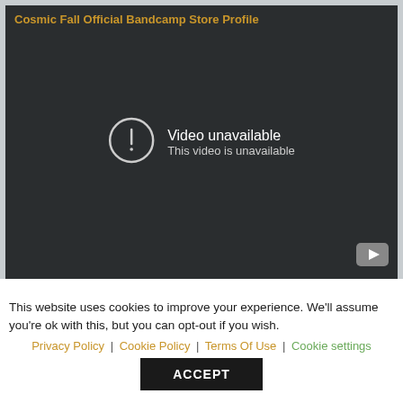Cosmic Fall Official Bandcamp Store Profile
[Figure (screenshot): Embedded video player showing 'Video unavailable - This video is unavailable' message on a dark background with a YouTube logo in the bottom-right corner.]
This website uses cookies to improve your experience. We'll assume you're ok with this, but you can opt-out if you wish. Privacy Policy | Cookie Policy | Terms Of Use | Cookie settings ACCEPT